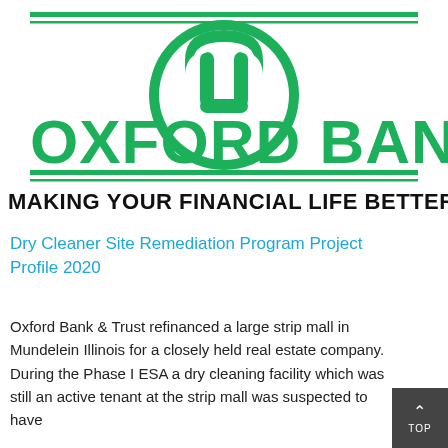[Figure (logo): Oxford Bank green logo with circular emblem and horizontal lines, text OXFORD BANK in large green letters]
MAKING YOUR FINANCIAL LIFE BETTER.
Dry Cleaner Site Remediation Program Project Profile 2020
Oxford Bank & Trust refinanced a large strip mall in Mundelein Illinois for a closely held real estate company. During the Phase I ESA a dry cleaning facility which was still an active tenant at the strip mall was suspected to have